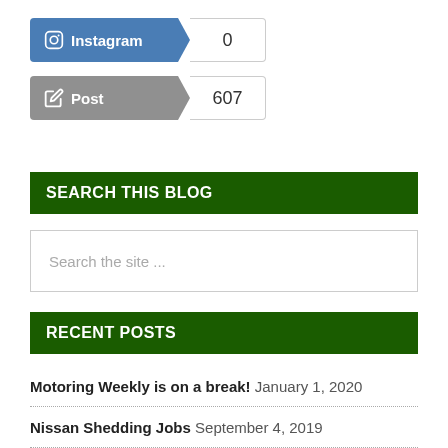[Figure (other): Instagram social share button showing count 0]
[Figure (other): Post share button showing count 607]
SEARCH THIS BLOG
Search the site ...
RECENT POSTS
Motoring Weekly is on a break! January 1, 2020
Nissan Shedding Jobs September 4, 2019
...